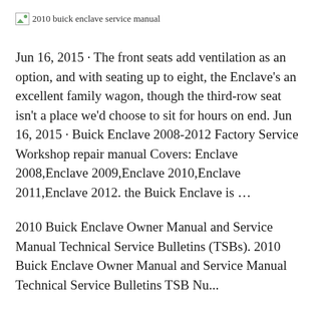[Figure (other): Broken image placeholder with alt text '2010 buick enclave service manual']
Jun 16, 2015 · The front seats add ventilation as an option, and with seating up to eight, the Enclave's an excellent family wagon, though the third-row seat isn't a place we'd choose to sit for hours on end. Jun 16, 2015 · Buick Enclave 2008-2012 Factory Service Workshop repair manual Covers: Enclave 2008,Enclave 2009,Enclave 2010,Enclave 2011,Enclave 2012. the Buick Enclave is ...
2010 Buick Enclave Owner Manual and Service Manual Technical Service Bulletins (TSBs). 2010 Buick Enclave Owner Manual and Service Manual Technical Service Bulletins TSB Nu...